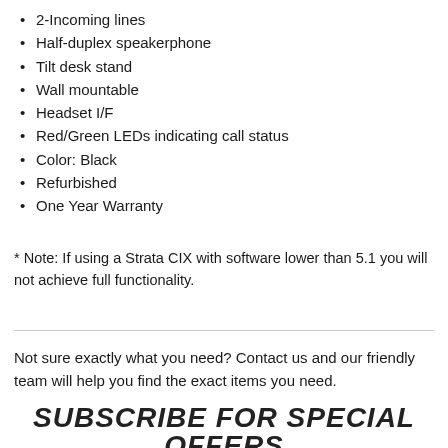2-Incoming lines
Half-duplex speakerphone
Tilt desk stand
Wall mountable
Headset I/F
Red/Green LEDs indicating call status
Color: Black
Refurbished
One Year Warranty
* Note: If using a Strata CIX with software lower than 5.1 you will not achieve full functionality.
Not sure exactly what you need? Contact us and our friendly team will help you find the exact items you need.
SUBSCRIBE FOR SPECIAL OFFERS